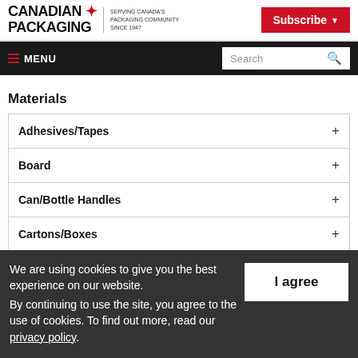CANADIAN PACKAGING — SERVING CANADA'S PACKAGING COMMUNITY SINCE 1947 | Subscribe | MENU | Search
Materials
Adhesives/Tapes
Board
Can/Bottle Handles
Cartons/Boxes
Flexibles/Pouches
We are using cookies to give you the best experience on our website.
By continuing to use the site, you agree to the use of cookies.
To find out more, read our privacy policy.